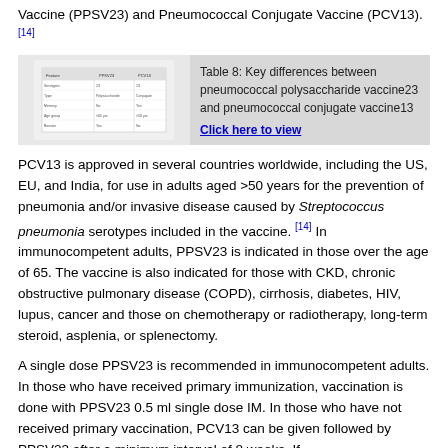Vaccine (PPSV23) and Pneumococcal Conjugate Vaccine (PCV13). [14]
[Figure (table-as-image): Thumbnail of Table 8 showing key differences between pneumococcal polysaccharide vaccine23 and pneumococcal conjugate vaccine13]
Table 8: Key differences between pneumococcal polysaccharide vaccine23 and pneumococcal conjugate vaccine13
Click here to view
PCV13 is approved in several countries worldwide, including the US, EU, and India, for use in adults aged >50 years for the prevention of pneumonia and/or invasive disease caused by Streptococcus pneumonia serotypes included in the vaccine. [14] In immunocompetent adults, PPSV23 is indicated in those over the age of 65. The vaccine is also indicated for those with CKD, chronic obstructive pulmonary disease (COPD), cirrhosis, diabetes, HIV, lupus, cancer and those on chemotherapy or radiotherapy, long-term steroid, asplenia, or splenectomy.
A single dose PPSV23 is recommended in immunocompetent adults. In those who have received primary immunization, vaccination is done with PPSV23 0.5 ml single dose IM. In those who have not received primary vaccination, PCV13 can be given followed by PPSV23 after a minimum interval of 8 weeks. If